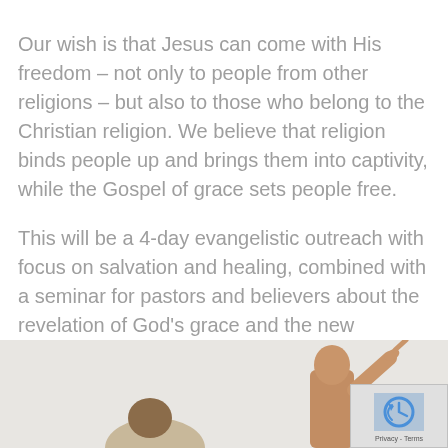Our wish is that Jesus can come with His freedom – not only to people from other religions – but also to those who belong to the Christian religion. We believe that religion binds people up and brings them into captivity, while the Gospel of grace sets people free.
This will be a 4-day evangelistic outreach with focus on salvation and healing, combined with a seminar for pastors and believers about the revelation of God's grace and the new covenant.
[Figure (photo): Photo of a person (preacher) seen from behind with arm raised, pointing upward, with another person partially visible to the left. Light/overexposed background.]